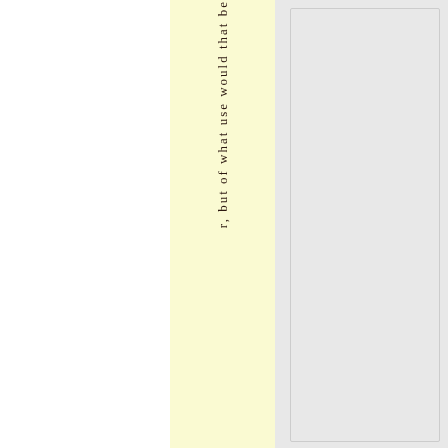r, but of what use would that be